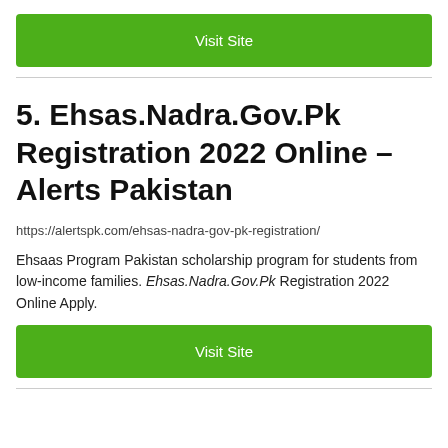[Figure (other): Green 'Visit Site' button at top]
5. Ehsas.Nadra.Gov.Pk Registration 2022 Online – Alerts Pakistan
https://alertspk.com/ehsas-nadra-gov-pk-registration/
Ehsaas Program Pakistan scholarship program for students from low-income families. Ehsas.Nadra.Gov.Pk Registration 2022 Online Apply.
[Figure (other): Green 'Visit Site' button at bottom]